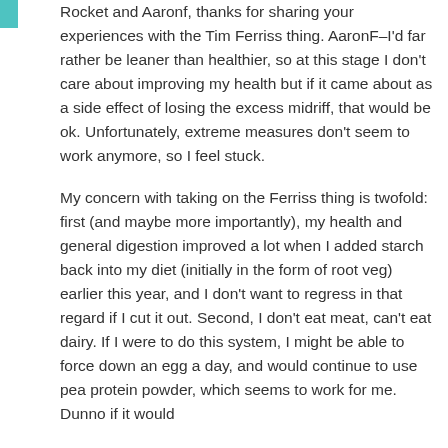Rocket and Aaronf, thanks for sharing your experiences with the Tim Ferriss thing. AaronF–I'd far rather be leaner than healthier, so at this stage I don't care about improving my health but if it came about as a side effect of losing the excess midriff, that would be ok. Unfortunately, extreme measures don't seem to work anymore, so I feel stuck.
My concern with taking on the Ferriss thing is twofold: first (and maybe more importantly), my health and general digestion improved a lot when I added starch back into my diet (initially in the form of root veg) earlier this year, and I don't want to regress in that regard if I cut it out. Second, I don't eat meat, can't eat dairy. If I were to do this system, I might be able to force down an egg a day, and would continue to use pea protein powder, which seems to work for me. Dunno if it would